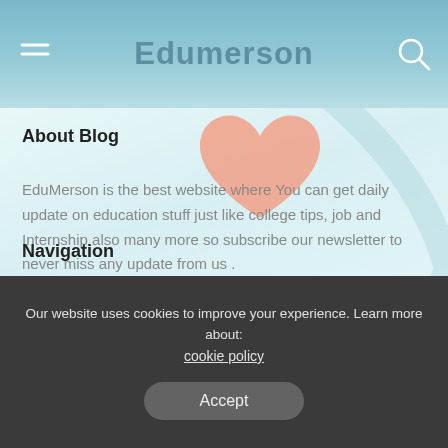Edumerson
About Blog
EduMerson is the best website where You can get daily update on education stuff just like college tips, job and Internship also many more so subscribe our newsletter to never miss any update from us .
[Figure (illustration): Social media icons: Facebook, Twitter, Pinterest, Instagram]
Navigation
Our website uses cookies to improve your experience. Learn more about: cookie policy
Accept